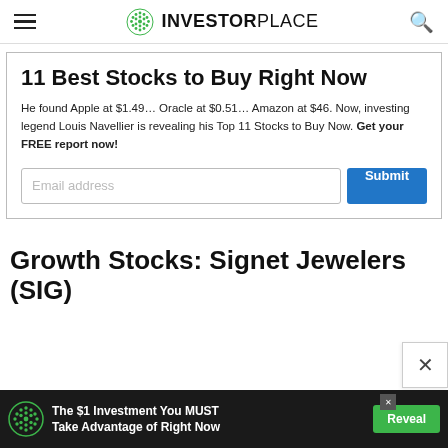INVESTORPLACE
11 Best Stocks to Buy Right Now
He found Apple at $1.49… Oracle at $0.51… Amazon at $46. Now, investing legend Louis Navellier is revealing his Top 11 Stocks to Buy Now. Get your FREE report now!
Growth Stocks: Signet Jewelers (SIG)
The $1 Investment You MUST Take Advantage of Right Now